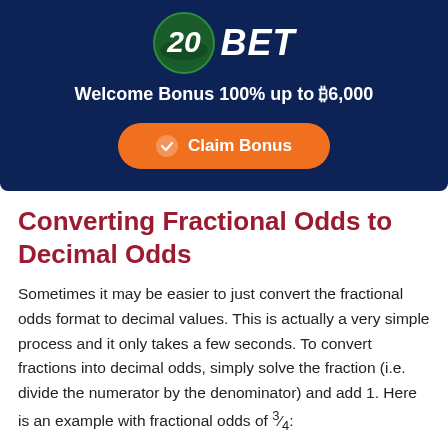[Figure (illustration): 20BET sportsbook banner with dark navy background, green circular logo with '20' in bold white italic text, 'BET' in white bold italic, welcome bonus text '100% up to ₿6,000', and an orange 'Claim Bonus' button with checkmark icon.]
Converting Fractional Odds to Decimal Odds
Sometimes it may be easier to just convert the fractional odds format to decimal values. This is actually a very simple process and it only takes a few seconds. To convert fractions into decimal odds, simply solve the fraction (i.e. divide the numerator by the denominator) and add 1. Here is an example with fractional odds of ¾: